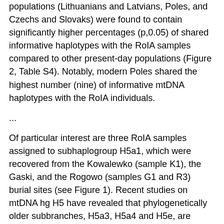populations (Lithuanians and Latvians, Poles, and Czechs and Slovaks) were found to contain significantly higher percentages (p,0.05) of shared informative haplotypes with the RoIA samples compared to other present-day populations (Figure 2, Table S4). Notably, modern Poles shared the highest number (nine) of informative mtDNA haplotypes with the RoIA individuals.
...
Of particular interest are three RoIA samples assigned to subhaplogroup H5a1, which were recovered from the Kowalewko (sample K1), the Gaski, and the Rogowo (samples G1 and R3) burial sites (see Figure 1). Recent studies on mtDNA hg H5 have revealed that phylogenetically older subbranches, H5a3, H5a4 and H5e, are observed primarily in modern populations from southern Europe, while the younger ones, including H5a1 that was found among RoIA individuals, is restricted to...